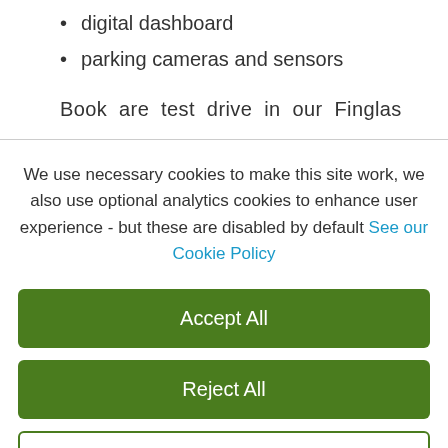digital dashboard
parking cameras and sensors
Book are test drive in our Finglas
We use necessary cookies to make this site work, we also use optional analytics cookies to enhance user experience - but these are disabled by default See our Cookie Policy
Accept All
Reject All
Settings